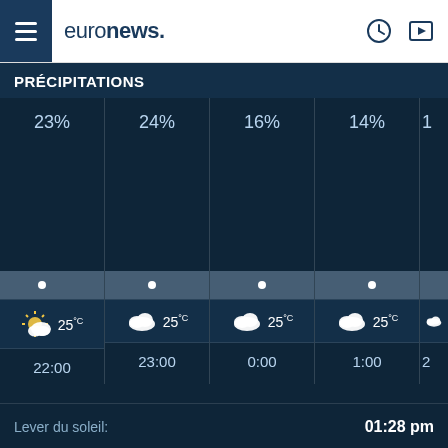euronews.
PRÉCIPITATIONS
[Figure (infographic): Hourly weather forecast showing precipitation percentages, weather icons (partly cloudy, cloudy), temperature (25°C), and times (22:00, 23:00, 0:00, 1:00, 2:00). Precipitation values: 23%, 24%, 16%, 14%, partial. All temperatures 25°C.]
Lever du soleil:
01:28 pm